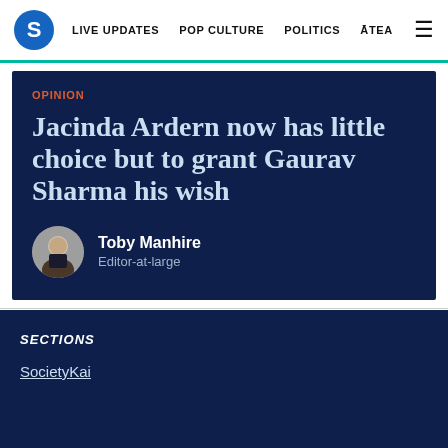S  LIVE UPDATES  POP CULTURE  POLITICS  ĀTEA  ☰
OPINION
Jacinda Ardern now has little choice but to grant Gaurav Sharma his wish
Toby Manhire
Editor-at-large
SECTIONS
Society
Kai